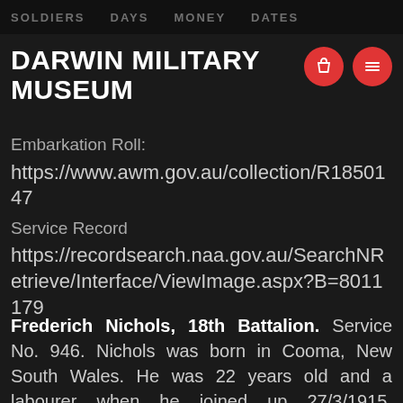SOLDIERS DAYS MONEY DATES
(Sydney, NSW : 1910-1954) 20 February 1919: 7
DARWIN MILITARY MUSEUM
Embarkation Roll:
https://www.awm.gov.au/collection/R1850147
Service Record
https://recordsearch.naa.gov.au/SearchNRetrieve/Interface/ViewImage.aspx?B=8011179
Frederich Nichols, 18th Battalion. Service No. 946. Nichols was born in Cooma, New South Wales. He was 22 years old and a labourer when he joined up 27/3/1915. Embarkation on the HMAT Ceramic